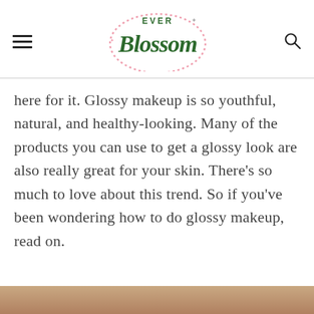Ever Blossom (logo)
here for it. Glossy makeup is so youthful, natural, and healthy-looking. Many of the products you can use to get a glossy look are also really great for your skin. There's so much to love about this trend. So if you've been wondering how to do glossy makeup, read on.
[Figure (photo): Bottom portion of a photo showing a person's face/hair, cropped at the bottom of the page.]